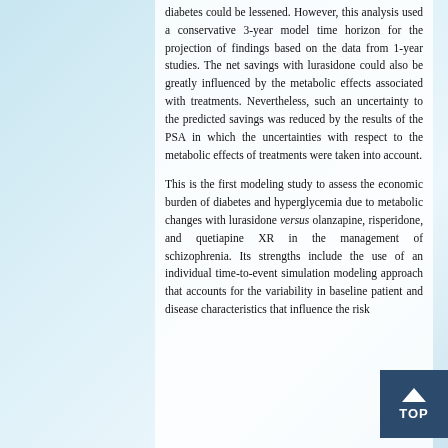diabetes could be lessened. However, this analysis used a conservative 3-year model time horizon for the projection of findings based on the data from 1-year studies. The net savings with lurasidone could also be greatly influenced by the metabolic effects associated with treatments. Nevertheless, such an uncertainty to the predicted savings was reduced by the results of the PSA in which the uncertainties with respect to the metabolic effects of treatments were taken into account.
This is the first modeling study to assess the economic burden of diabetes and hyperglycemia due to metabolic changes with lurasidone versus olanzapine, risperidone, and quetiapine XR in the management of schizophrenia. Its strengths include the use of an individual time-to-event simulation modeling approach that accounts for the variability in baseline patient and disease characteristics that influence the risk...